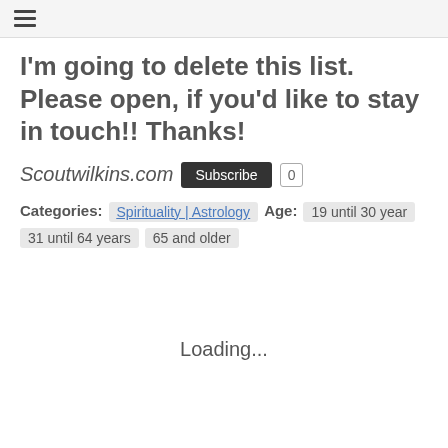☰
I'm going to delete this list. Please open, if you'd like to stay in touch!! Thanks!
Scoutwilkins.com  Subscribe  0
Categories: Spirituality | Astrology  Age: 19 until 30 year  31 until 64 years  65 and older
Loading...